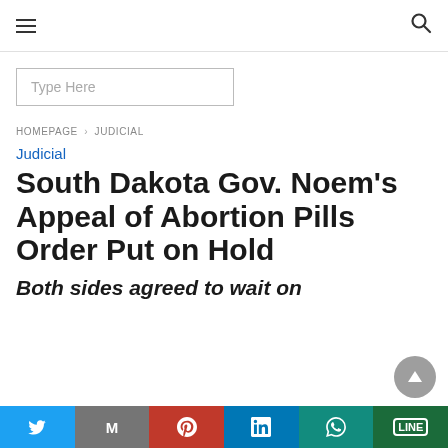☰  🔍
Type Here
HOMEPAGE › JUDICIAL
Judicial
South Dakota Gov. Noem's Appeal of Abortion Pills Order Put on Hold
Both sides agreed to wait on